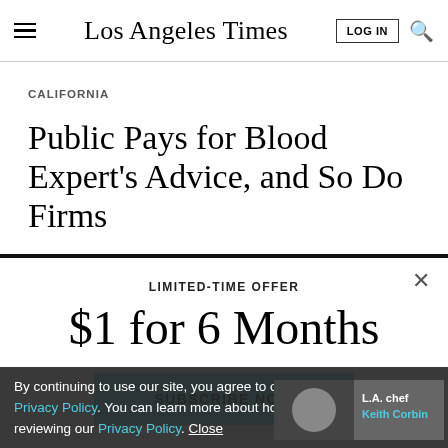Los Angeles Times
CALIFORNIA
Public Pays for Blood Expert's Advice, and So Do Firms
LIMITED-TIME OFFER
$1 for 6 Months
SUBSCRIBE NOW
By continuing to use our site, you agree to our Terms of Service and Privacy Policy. You can learn more about how we use cookies by reviewing our Privacy Policy. Close
[Figure (photo): Thumbnail photo of L.A. chef Keith Corbin with text overlay]